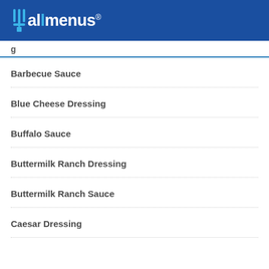allmenus
g
Barbecue Sauce
Blue Cheese Dressing
Buffalo Sauce
Buttermilk Ranch Dressing
Buttermilk Ranch Sauce
Caesar Dressing